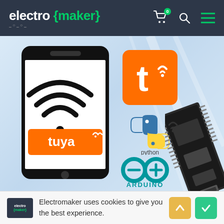electro {maker}
[Figure (illustration): Electromaker website banner showing a smartphone with WiFi and Tuya logos, Tuya app icon (orange), Python logo, Arduino logo, and an ESP32 microcontroller board on a light blue gradient background]
Electromaker uses cookies to give you the best experience.